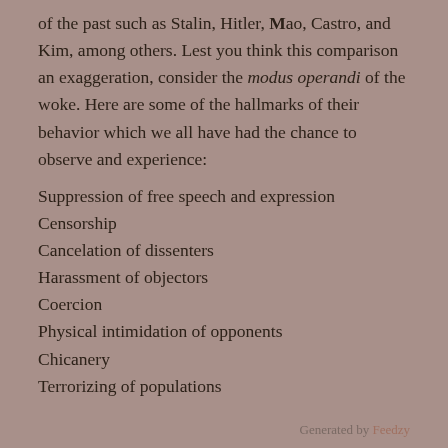of the past such as Stalin, Hitler, Mao, Castro, and Kim, among others. Lest you think this comparison an exaggeration, consider the modus operandi of the woke. Here are some of the hallmarks of their behavior which we all have had the chance to observe and experience:
Suppression of free speech and expression
Censorship
Cancelation of dissenters
Harassment of objectors
Coercion
Physical intimidation of opponents
Chicanery
Terrorizing of populations
Generated by Feedzy